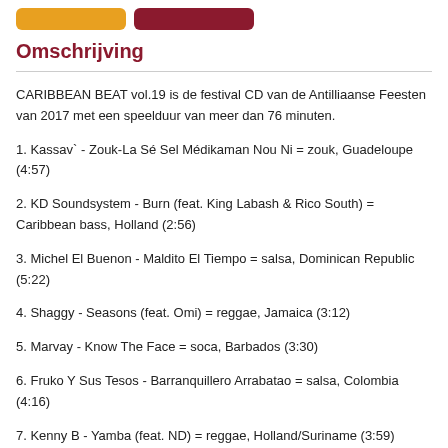Omschrijving
CARIBBEAN BEAT vol.19 is de festival CD van de Antilliaanse Feesten van 2017 met een speelduur van meer dan 76 minuten.
1. Kassav` - Zouk-La Sé Sel Médikaman Nou Ni = zouk, Guadeloupe (4:57)
2. KD Soundsystem - Burn (feat. King Labash & Rico South) = Caribbean bass, Holland (2:56)
3. Michel El Buenon - Maldito El Tiempo = salsa, Dominican Republic (5:22)
4. Shaggy - Seasons (feat. Omi) = reggae, Jamaica (3:12)
5. Marvay - Know The Face = soca, Barbados (3:30)
6. Fruko Y Sus Tesos - Barranquillero Arrabatao = salsa, Colombia (4:16)
7. Kenny B - Yamba (feat. ND) = reggae, Holland/Suriname (3:59)
8. Orquesta Pegasaya - Mi Carrito Lindo = merengue, Holland (3:20)